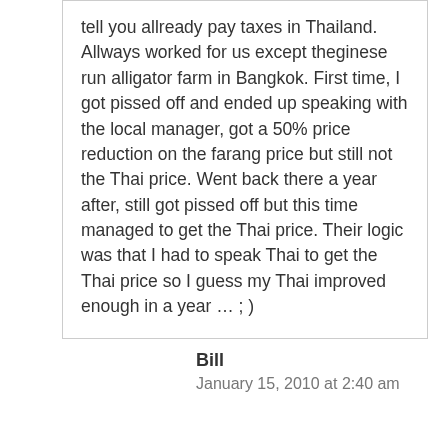tell you allready pay taxes in Thailand. Allways worked for us except theginese run alligator farm in Bangkok. First time, I got pissed off and ended up speaking with the local manager, got a 50% price reduction on the farang price but still not the Thai price. Went back there a year after, still got pissed off but this time managed to get the Thai price. Their logic was that I had to speak Thai to get the Thai price so I guess my Thai improved enough in a year … ; )
Bill
January 15, 2010 at 2:40 am